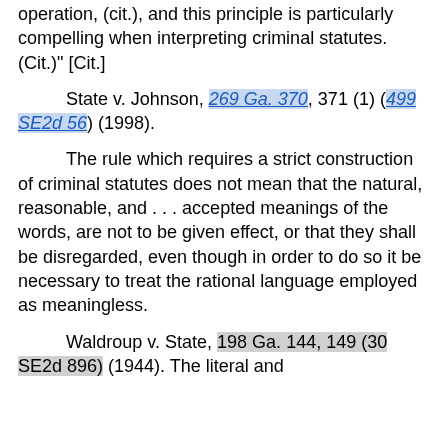operation, (cit.), and this principle is particularly compelling when interpreting criminal statutes. (Cit.)" [Cit.]
State v. Johnson, 269 Ga. 370, 371 (1) (499 SE2d 56) (1998).
The rule which requires a strict construction of criminal statutes does not mean that the natural, reasonable, and . . . accepted meanings of the words, are not to be given effect, or that they shall be disregarded, even though in order to do so it be necessary to treat the rational language employed as meaningless.
Waldroup v. State, 198 Ga. 144, 149 (30 SE2d 896) (1944). The literal and